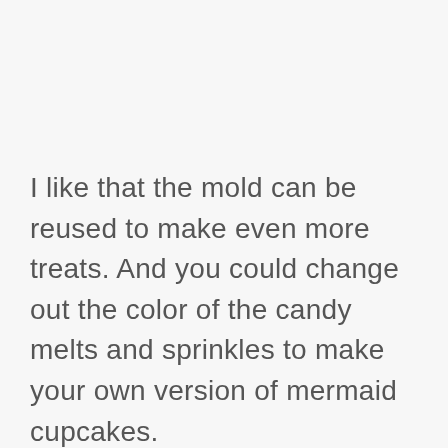I like that the mold can be reused to make even more treats. And you could change out the color of the candy melts and sprinkles to make your own version of mermaid cupcakes.